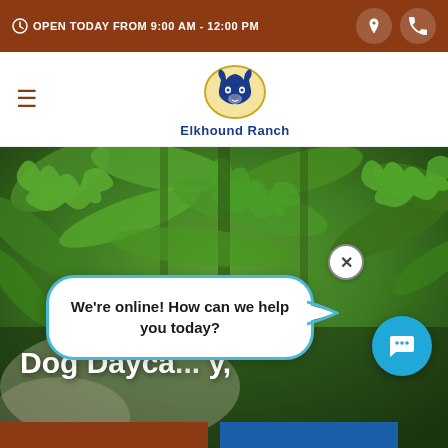OPEN TODAY FROM 9:00 AM - 12:00 PM
[Figure (logo): Elkhound Ranch logo: stylized husky dog head inside an oval, blue and gold colors, text 'Elkhound Ranch' below]
[Figure (photo): Hero background photo of green leafy trees/foliage with a dog partially visible]
Dog Dayca... y,
We're online! How can we help you today?